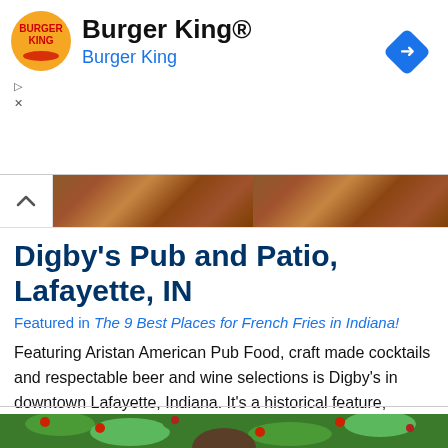[Figure (screenshot): Burger King advertisement banner with logo, title 'Burger King®', subtitle 'Burger King', navigation icons, and blue diamond navigation button]
[Figure (photo): Collapsed banner showing a chevron-up arrow and a wooden texture strip image]
Digby's Pub and Patio, Lafayette, IN
Featured in The 9 Best Places for French Fries in Indiana!
Featuring Aristan American Pub Food, craft made cocktails and respectable beer and wine selections is Digby's in downtown Lafayette, Indiana. It's a historical feature, named after the… Read More
[Figure (photo): Partial photo of a person among apple tree branches with red apples and green leaves]